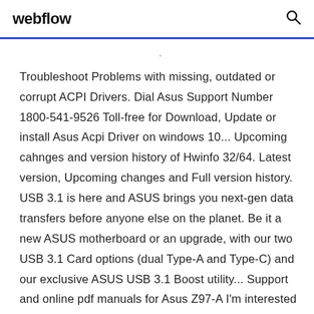webflow
Troubleshoot Problems with missing, outdated or corrupt ACPI Drivers. Dial Asus Support Number 1800-541-9526 Toll-free for Download, Update or install Asus Acpi Driver on windows 10... Upcoming cahnges and version history of Hwinfo 32/64. Latest version, Upcoming changes and Full version history. USB 3.1 is here and ASUS brings you next-gen data transfers before anyone else on the planet. Be it a new ASUS motherboard or an upgrade, with our two USB 3.1 Card options (dual Type-A and Type-C) and our exclusive ASUS USB 3.1 Boost utility... Support and online pdf manuals for Asus Z97-A I'm interested in everything that runs on